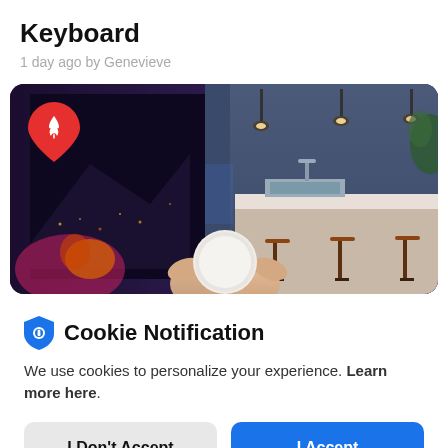Keyboard
1 day ago by Genevieve
[Figure (photo): Smart home scene showing a modern kitchen at night with colored lighting, person holding a round smart home controller device. A red Tinder-style fire icon badge overlaid in top-left corner.]
Cookie Notification
We use cookies to personalize your experience. Learn more here.
I Don't Accept
I Accept